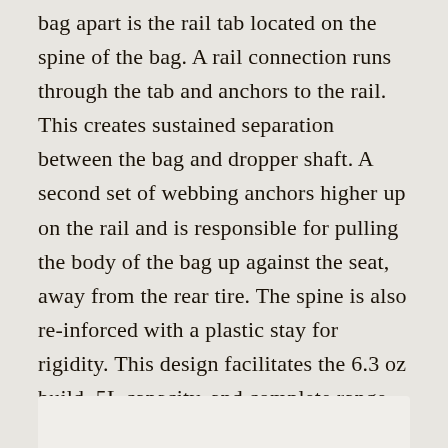bag apart is the rail tab located on the spine of the bag. A rail connection runs through the tab and anchors to the rail. This creates sustained separation between the bag and dropper shaft. A second set of webbing anchors higher up on the rail and is responsible for pulling the body of the bag up against the seat, away from the rear tire. The spine is also re-inforced with a plastic stay for rigidity. This design facilitates the 6.3 oz build, 5L capacity, and complete range of your dropper travel with no metal brackets. The new version will be available to order as of today.